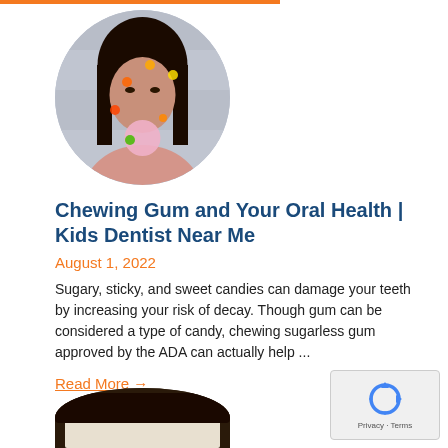[Figure (photo): Circular portrait photo of a person blowing a bubble gum bubble, with colorful dot overlays, against a stone wall background]
Chewing Gum and Your Oral Health | Kids Dentist Near Me
August 1, 2022
Sugary, sticky, and sweet candies can damage your teeth by increasing your risk of decay. Though gum can be considered a type of candy, chewing sugarless gum approved by the ADA can actually help ...
Read More →
[Figure (photo): Partial top of a round hat, dark brim visible, cropped at bottom of page]
[Figure (logo): reCAPTCHA badge with recycling-arrow logo and Privacy · Terms text]